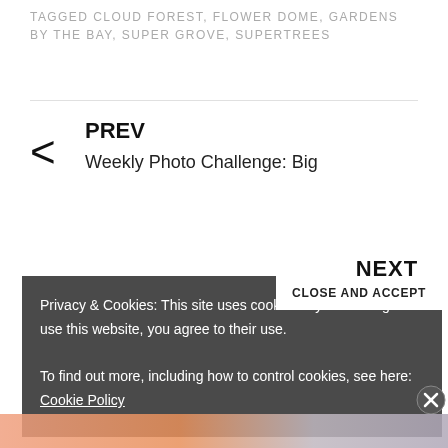TAGGED CLOUD FOREST, FLOWER DOME, GARDENS BY THE BAY, SUPER GROVE, SUPERTREES
PREV
Weekly Photo Challenge: Big
NEXT
Privacy & Cookies: This site uses cookies. By continuing to use this website, you agree to their use.
To find out more, including how to control cookies, see here: Cookie Policy
CLOSE AND ACCEPT